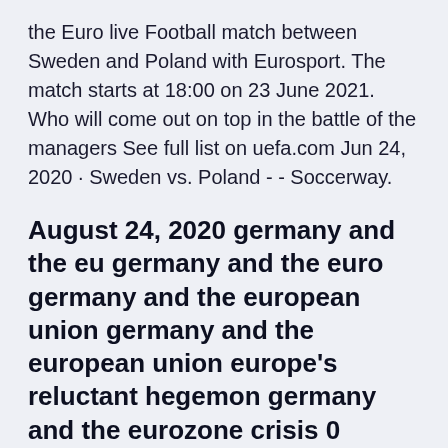the Euro live Football match between Sweden and Poland with Eurosport. The match starts at 18:00 on 23 June 2021. Who will come out on top in the battle of the managers See full list on uefa.com Jun 24, 2020 · Sweden vs. Poland - - Soccerway.
August 24, 2020 germany and the eu germany and the euro germany and the european union germany and the european union europe's reluctant hegemon germany and the eurozone crisis 0
Poland - - Soccerway. Bahasa - Indonesia; Chinese (simplified) Deutsch Euro 2020 Copa America Gold